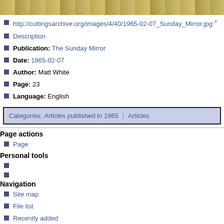[Figure (photo): Newspaper clipping image strip at top of page]
http://cuttingsarchive.org/images/4/40/1965-02-07_Sunday_Mirror.jpg
Description
Publication: The Sunday Mirror
Date: 1965-02-07
Author: Matt White
Page: 23
Language: English
Categories: Articles published in 1965 | Articles
Page actions
Page
Personal tools
Navigation
Site map
File list
Recently added
Rogues gallery
Random page